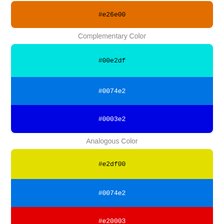[Figure (infographic): Color swatch showing #e26e00 (burnt orange) as complementary color]
Complementary Color
[Figure (infographic): Analogous color swatches: #00e2df (cyan), #0074e2 (blue), #0003e2 (dark blue)]
Analogous Color
[Figure (infographic): Split complementary color swatches: #e2df00 (yellow-green), #0074e2 (blue), #e20003 (red)]
Split Complementary Color